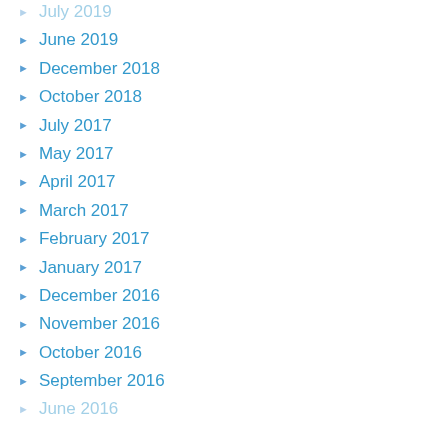July 2019
June 2019
December 2018
October 2018
July 2017
May 2017
April 2017
March 2017
February 2017
January 2017
December 2016
November 2016
October 2016
September 2016
June 2016